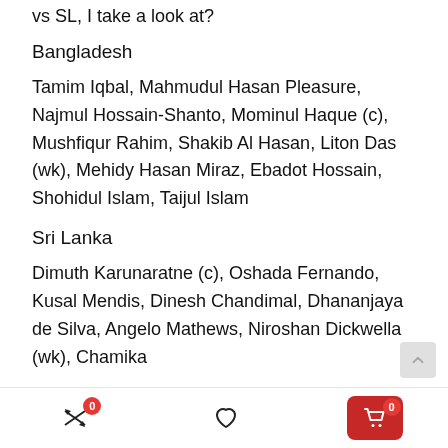vs SL, I take a look at?
Bangladesh
Tamim Iqbal, Mahmudul Hasan Pleasure, Najmul Hossain-Shanto, Mominul Haque (c), Mushfiqur Rahim, Shakib Al Hasan, Liton Das (wk), Mehidy Hasan Miraz, Ebadot Hossain, Shohidul Islam, Taijul Islam
Sri Lanka
Dimuth Karunaratne (c), Oshada Fernando, Kusal Mendis, Dinesh Chandimal, Dhananjaya de Silva, Angelo Mathews, Niroshan Dickwella (wk), Chamika